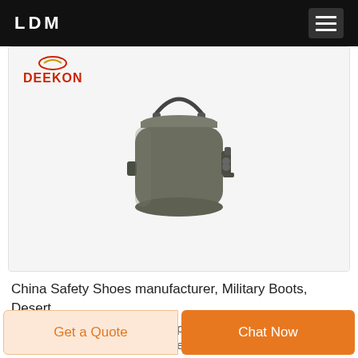LDM
[Figure (photo): DEEKON branded military mess tin / canteen cook set in dark olive/grey aluminum, with folding wire handle and side latch, shown on white background.]
China Safety Shoes manufacturer, Military Boots, Desert ...
· China Safety Shoes supplier, Military Boots, Desert Boots Manufacturers/
Get a Quote
Chat Now